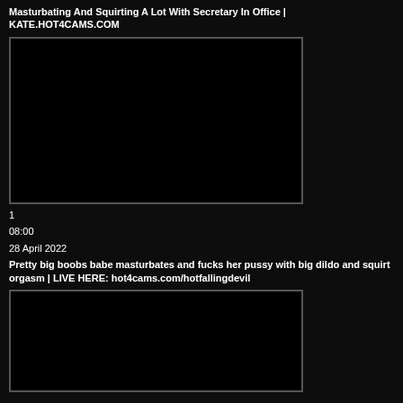Masturbating And Squirting A Lot With Secretary In Office | KATE.HOT4CAMS.COM
[Figure (screenshot): Black video thumbnail rectangle with border]
1
08:00
28 April 2022
Pretty big boobs babe masturbates and fucks her pussy with big dildo and squirt orgasm | LIVE HERE: hot4cams.com/hotfallingdevil
[Figure (screenshot): Black video thumbnail rectangle with border, partially visible]